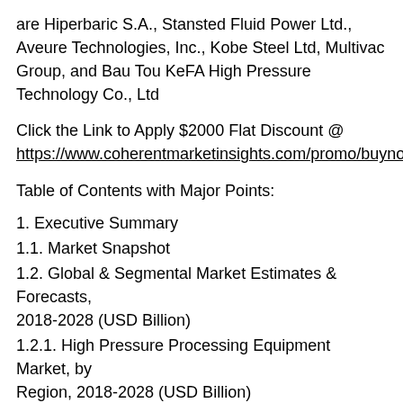are Hiperbaric S.A., Stansted Fluid Power Ltd., Aveure Technologies, Inc., Kobe Steel Ltd, Multivac Group, and Bau Tou KeFA High Pressure Technology Co., Ltd
Click the Link to Apply $2000 Flat Discount @ https://www.coherentmarketinsights.com/promo/buynow/4684
Table of Contents with Major Points:
1. Executive Summary
1.1. Market Snapshot
1.2. Global & Segmental Market Estimates & Forecasts, 2018-2028 (USD Billion)
1.2.1. High Pressure Processing Equipment Market, by Region, 2018-2028 (USD Billion)
1.2.2. High Pressure Processing Equipment Market, by Type, 2018-2028 (USD Billion)
1.2.3. High Pressure Processing Equipment Market, by Application, 2018-2028 (USD Billion)